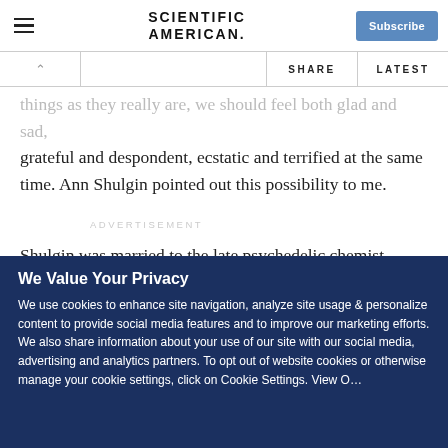Scientific American | Subscribe
things as they really are, we should feel both glad and sad, grateful and despondent, ecstatic and terrified at the same time. Ann Shulgin pointed out this possibility to me.
ADVERTISEMENT
Shulgin was married to the late psychedelic chemist Alexander
We Value Your Privacy
We use cookies to enhance site navigation, analyze site usage & personalize content to provide social media features and to improve our marketing efforts. We also share information about your use of our site with our social media, advertising and analytics partners. To opt out of website cookies or otherwise manage your cookie settings, click on Cookie Settings. View O...